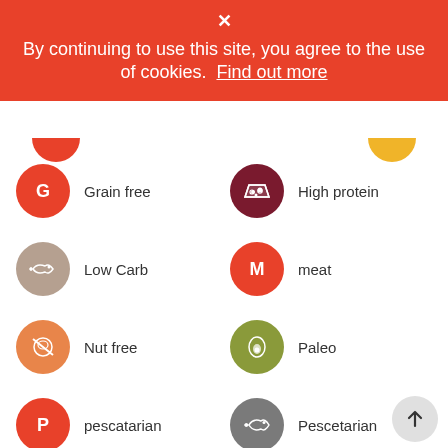By continuing to use this site, you agree to the use of cookies. Find out more
Grain free
High protein
Low Carb
meat
Nut free
Paleo
pescatarian
Pescetarian
Refined sugar free
Soy Free
Vegan
vegetarian